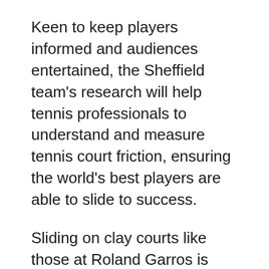Keen to keep players informed and audiences entertained, the Sheffield team's research will help tennis professionals to understand and measure tennis court friction, ensuring the world's best players are able to slide to success.
Sliding on clay courts like those at Roland Garros is made easy due to the low-friction nature of the surface. On hard courts, where the friction is much higher, sliding to meet the ball is much like sliding on the pavement. It's a move that has come to the attention